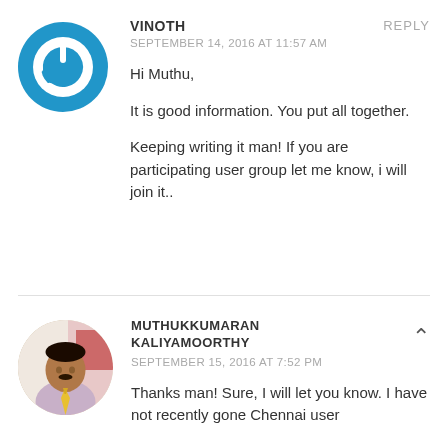[Figure (logo): Blue circular power button icon avatar for user Vinoth]
VINOTH
REPLY
SEPTEMBER 14, 2016 AT 11:57 AM
Hi Muthu,
It is good information. You put all together.
Keeping writing it man! If you are participating user group let me know, i will join it..
[Figure (photo): Profile photo of Muthukkumaran Kaliyamoorthy — man in pink shirt and yellow tie]
MUTHUKKUMARAN KALIYAMOORTHY
SEPTEMBER 15, 2016 AT 7:52 PM
Thanks man! Sure, I will let you know. I have not recently gone Chennai user